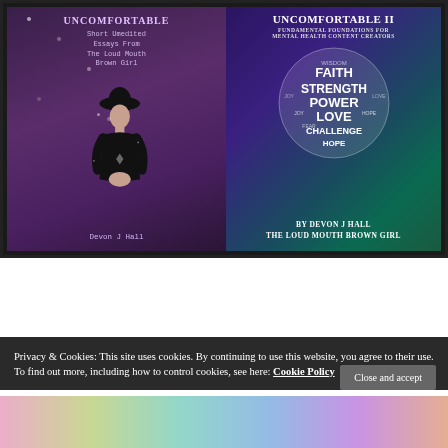[Figure (illustration): Two book covers side by side. Left: 'Uncomfortable – Short Unedited Essays From The Loud Mouth Brown Girl' by Devon J Hall, purple galaxy background with a silhouetted woman in black. Right: 'Uncomfortable II – Fundamental Foundations for Mental Health Content Creators' by Devon J Hall The Loud Mouth Brown Girl, purple-teal galaxy background with a word cloud globe featuring FAITH, STRENGTH, POWER, LOVE, CHALLENGE, HOPE.]
Privacy & Cookies: This site uses cookies. By continuing to use this website, you agree to their use.
To find out more, including how to control cookies, see here: Cookie Policy
[Figure (photo): Colorful rainbow-toned image partially visible at bottom of page]